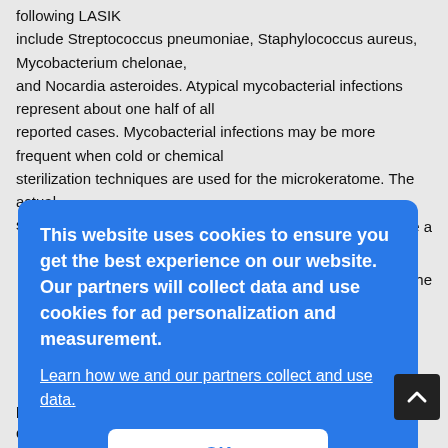following LASIK include Streptococcus pneumoniae, Staphylococcus aureus, Mycobacterium chelonae, and Nocardia asteroides. Atypical mycobacterial infections represent about one half of all reported cases. Mycobacterial infections may be more frequent when cold or chemical sterilization techniques are used for the microkeratome. The actual source of mycobacteria is
[Figure (screenshot): Cookie consent modal dialog with blue background. Text reads: 'This website uses cookies to ensure you get the best experience on our website. Our partners will collect data and use cookies for ad personalization and measurement.' A link 'Learn how we and our partners collect and use data.' and an OK button.]
polymyxin-trimethoprim drops 4 times per day starting 2-3 days prio